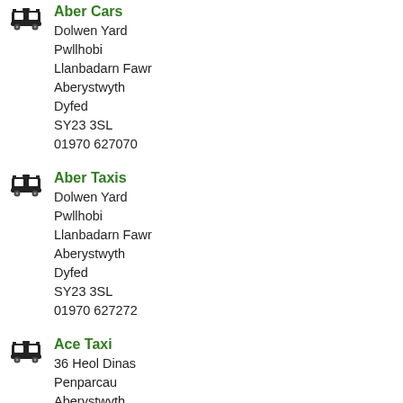Aber Cars
Dolwen Yard
Pwllhobi
Llanbadarn Fawr
Aberystwyth
Dyfed
SY23 3SL
01970 627070
Aber Taxis
Dolwen Yard
Pwllhobi
Llanbadarn Fawr
Aberystwyth
Dyfed
SY23 3SL
01970 627272
Ace Taxi
36 Heol Dinas
Penparcau
Aberystwyth
Dyfed
SY23 3RT
01970 617721
Acti-Car
Pendorlan
Cwmsymlog
Aberystwyth
Dyfed